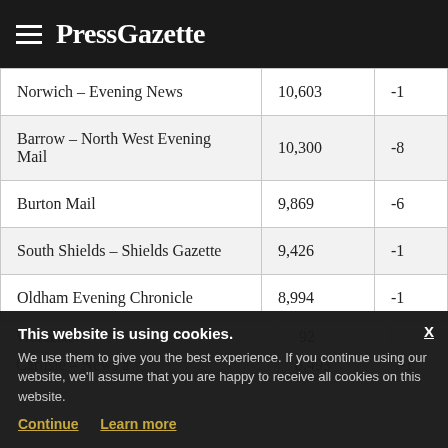PressGazette
| Publication | Circulation | Change |
| --- | --- | --- |
| Norwich – Evening News | 10,603 | -1... |
| Barrow – North West Evening Mail | 10,300 | -8... |
| Burton Mail | 9,869 | -6... |
| South Shields – Shields Gazette | 9,426 | -1... |
| Oldham Evening Chronicle | 8,994 | -1... |
| Worcester... | ...92 | ... |
| Carlisle – News a... | 8,493 | -1... |